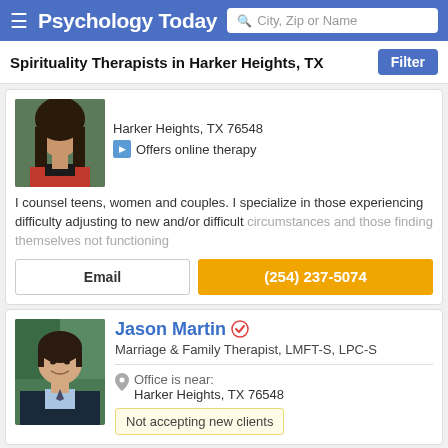Psychology Today — City, Zip or Name search
Spirituality Therapists in Harker Heights, TX
[Figure (photo): Therapist profile photo showing a woman with long dark hair wearing red and black top]
Harker Heights, TX 76548
Offers online therapy
I counsel teens, women and couples. I specialize in those experiencing difficulty adjusting to new and/or difficult circumstances and those finding themselves not functioning
Email
(254) 237-5074
[Figure (photo): Jason Martin profile photo showing a smiling man in a dark suit jacket with light blue shirt, outdoors with green foliage background]
Jason Martin
Marriage & Family Therapist, LMFT-S, LPC-S
Office is near:
Harker Heights, TX 76548
Not accepting new clients